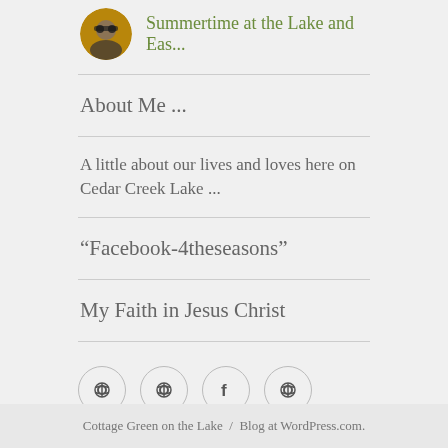[Figure (photo): Circular avatar photo of a person with sunglasses outdoors]
Summertime at the Lake and Eas...
About Me ...
A little about our lives and loves here on Cedar Creek Lake ...
“Facebook-4theseasons”
My Faith in Jesus Christ
[Figure (infographic): Four circular social media icon buttons in a row]
Cottage Green on the Lake  /  Blog at WordPress.com.